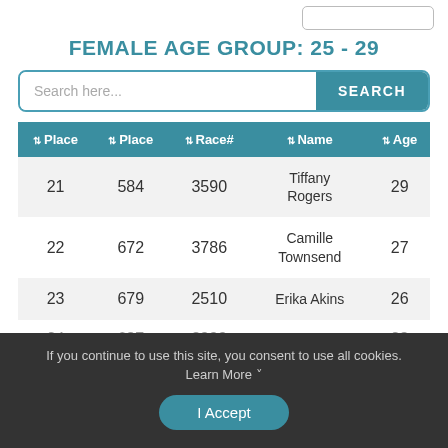FEMALE AGE GROUP: 25 - 29
| Place | Place | Race# | Name | Age |
| --- | --- | --- | --- | --- |
| 21 | 584 | 3590 | Tiffany Rogers | 29 |
| 22 | 672 | 3786 | Camille Townsend | 27 |
| 23 | 679 | 2510 | Erika Akins | 26 |
| 24 | 687 | 3999 | Anna | 28 |
If you continue to use this site, you consent to use all cookies. Learn More
I Accept